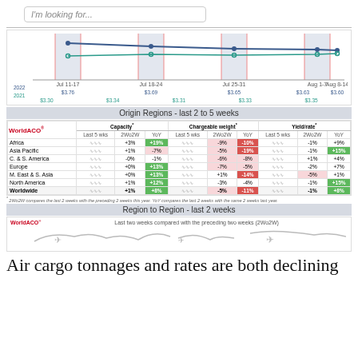I'm looking for...
[Figure (line-chart): Air cargo rates chart Jul 11 - Aug 14]
Origin Regions - last 2 to 5 weeks
|  | Capacity |  |  | Chargeable weight |  |  | Yield/rate |  |  |
| --- | --- | --- | --- | --- | --- | --- | --- | --- | --- |
|  | Last 5 wks | 2Wo2W | YoY | Last 5 wks | 2Wo2W | YoY | Last 5 wks | 2Wo2W | YoY |
| Africa | ~ | +3% | +19% | ~ | -9% | -10% | ~ | -1% | +9% |
| Asia Pacific | ~ | +1% | -7% | ~ | -5% | -19% | ~ | -1% | +15% |
| C. & S. America | ~ | -0% | -1% | ~ | -6% | -8% | ~ | +1% | +4% |
| Europe | ~ | +0% | +13% | ~ | -7% | -5% | ~ | -2% | +7% |
| M. East & S. Asia | ~ | +0% | +13% | ~ | +1% | -14% | ~ | -5% | +1% |
| North America | ~ | +1% | +12% | ~ | -3% | -4% | ~ | -1% | +15% |
| Worldwide | ~ | +1% | +8% | ~ | -5% | -11% | ~ | -1% | +8% |
* 2Wo2W compares the last 2 weeks with the preceding 2 weeks this year. YoY compares the last 2 weeks with the same 2 weeks last year.
Region to Region - last 2 weeks
Last two weeks compared with the preceding two weeks (2Wo2W)
Air cargo tonnages and rates are both declining